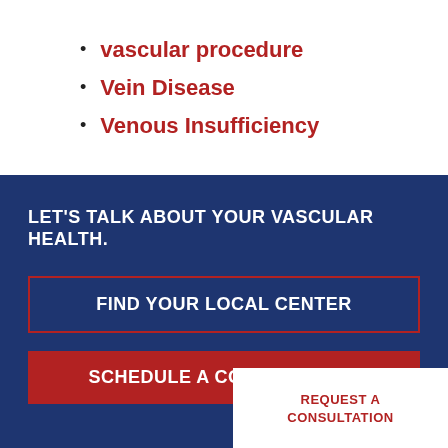vascular procedure
Vein Disease
Venous Insufficiency
LET'S TALK ABOUT YOUR VASCULAR HEALTH.
FIND YOUR LOCAL CENTER
SCHEDULE A CONSULTATION
REQUEST A CONSULTATION